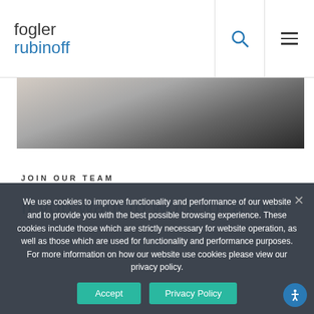fogler rubinoff
[Figure (photo): Partial view of a person in a white shirt, dark background, cropped head/shoulder shot]
JOIN OUR TEAM
If you want to work for a firm
We use cookies to improve functionality and performance of our website and to provide you with the best possible browsing experience. These cookies include those which are strictly necessary for website operation, as well as those which are used for functionality and performance purposes. For more information on how our website use cookies please view our privacy policy.
View Careers →